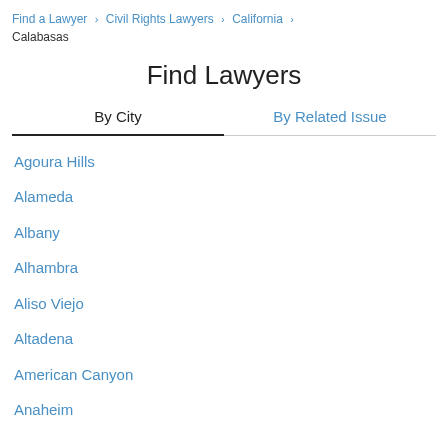Find a Lawyer > Civil Rights Lawyers > California > Calabasas
Find Lawyers
By City | By Related Issue
Agoura Hills
Alameda
Albany
Alhambra
Aliso Viejo
Altadena
American Canyon
Anaheim